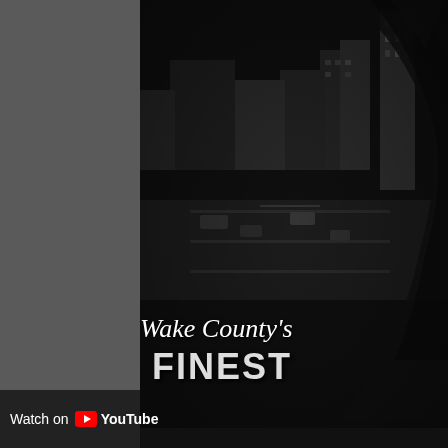[Figure (photo): Black and white photo of a person's tattooed hand/arm raised against a dark city skyline background. The image shows an aerial view of city buildings and roads below, with a dark moody atmosphere.]
Wake County's FINEST
Watch on YouTube